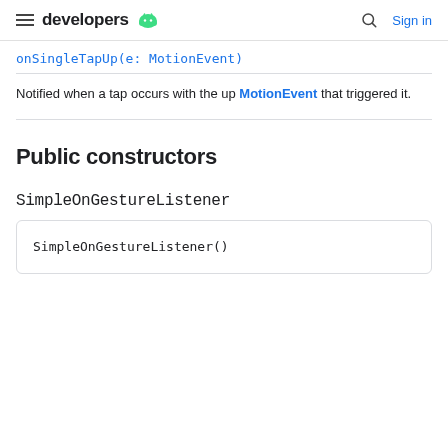developers (android logo) | Search | Sign in
onSingleTapUp(e: MotionEvent)
Notified when a tap occurs with the up MotionEvent that triggered it.
Public constructors
SimpleOnGestureListener
SimpleOnGestureListener()